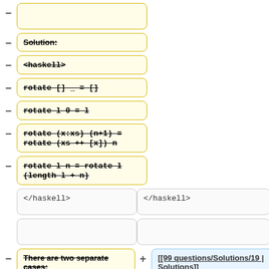Solution:
<haskell>
rotate [] _ = []
rotate l 0 = l
rotate (x:xs) (n+1) = rotate (xs ++ [x]) n
rotate l n = rotate l (length l + n)
</haskell>
</haskell>
There are two separate cases:
[[99 questions/Solutions/19 | Solutions]]